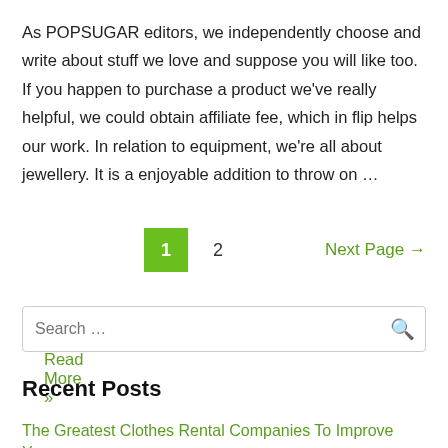As POPSUGAR editors, we independently choose and write about stuff we love and suppose you will like too. If you happen to purchase a product we've really helpful, we could obtain affiliate fee, which in flip helps our work. In relation to equipment, we're all about jewellery. It is a enjoyable addition to throw on …
Read More »
1  2  Next Page →
Search …
Recent Posts
The Greatest Clothes Rental Companies To Improve Your